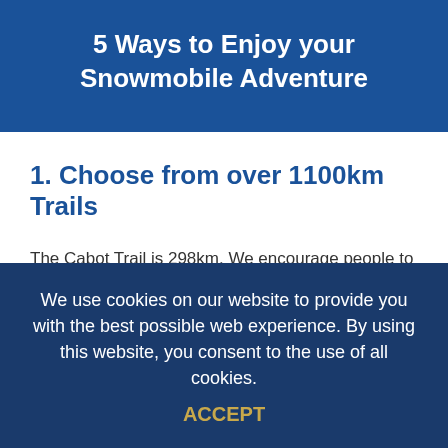5 Ways to Enjoy your Snowmobile Adventure
1. Choose from over 1100km Trails
The Cabot Trail is 298km. We encourage people to explore the trail for a least a few days. Imagine what you could see with over 1100km of trails! You could
We use cookies on our website to provide you with the best possible web experience. By using this website, you consent to the use of all cookies. ACCEPT